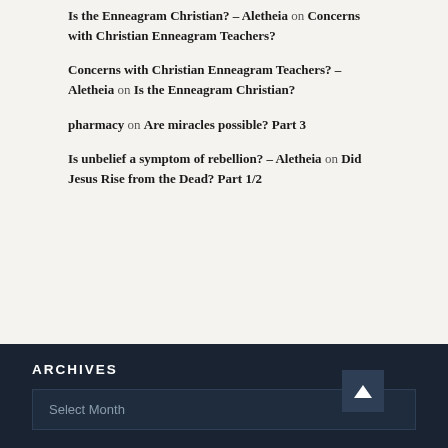Is the Enneagram Christian? – Aletheia on Concerns with Christian Enneagram Teachers?
Concerns with Christian Enneagram Teachers? – Aletheia on Is the Enneagram Christian?
pharmacy on Are miracles possible? Part 3
Is unbelief a symptom of rebellion? – Aletheia on Did Jesus Rise from the Dead? Part 1/2
ARCHIVES
Select Month